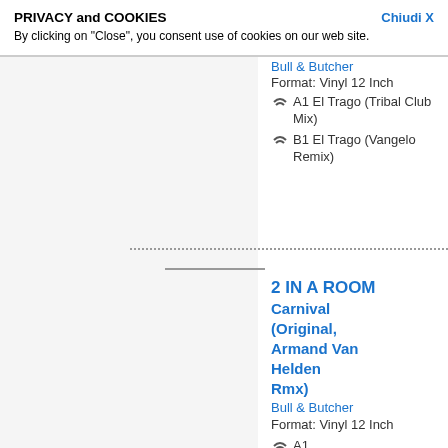PRIVACY and COOKIES
By clicking on "Close", you consent use of cookies on our web site.
Chiudi X
2 IN A ROOM
El Traw (Tri... (Tribal) (Remix)
Bull & Butcher
Format: Vinyl 12 Inch
A1 El Trago (Tribal Club Mix)
B1 El Trago (Vangelo Remix)
2 IN A ROOM
Carnival (Original, Armand Van Helden Rmx)
Bull & Butcher
Format: Vinyl 12 Inch
A1 Carnival (Spanish Version)
B2 Carnival (Vargas Brothers Dub)